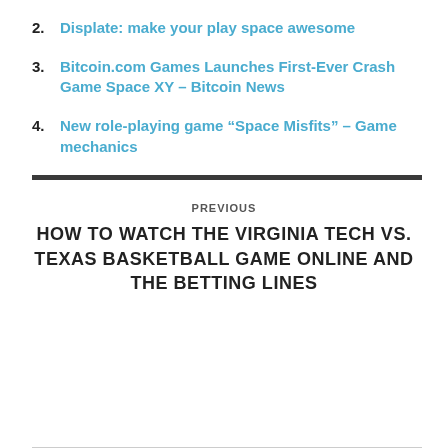2. Displate: make your play space awesome
3. Bitcoin.com Games Launches First-Ever Crash Game Space XY – Bitcoin News
4. New role-playing game “Space Misfits” – Game mechanics
PREVIOUS
HOW TO WATCH THE VIRGINIA TECH VS. TEXAS BASKETBALL GAME ONLINE AND THE BETTING LINES